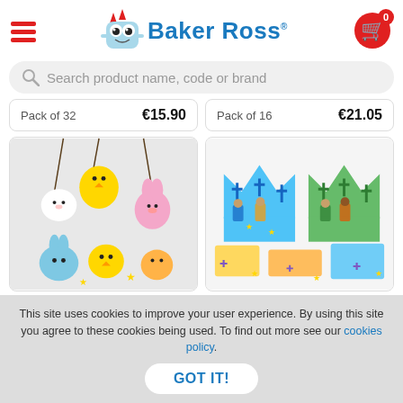[Figure (logo): Baker Ross logo with cartoon monster mascot and blue text]
Search product name, code or brand
Pack of 32   €15.90
Pack of 16   €21.05
[Figure (photo): Easter foam craft decorations - chick, bunny, lamb characters on cords]
[Figure (photo): Religious crown craft kits with nativity scene decorations and foam stickers]
This site uses cookies to improve your user experience. By using this site you agree to these cookies being used. To find out more see our cookies policy.
GOT IT!